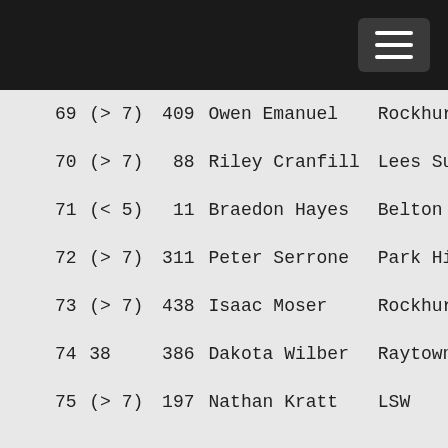| Rank | Class | Bib | Name | School |
| --- | --- | --- | --- | --- |
| 69 | (> 7) | 409 | Owen Emanuel | Rockhurst |
| 70 | (> 7) | 88 | Riley Cranfill | Lees Summ |
| 71 | (< 5) | 11 | Braedon Hayes | Belton |
| 72 | (> 7) | 311 | Peter Serrone | Park Hill |
| 73 | (> 7) | 438 | Isaac Moser | Rockhurst |
| 74 | 38 | 386 | Dakota Wilber | Raytown M |
| 75 | (> 7) | 197 | Nathan Kratt | LSW |